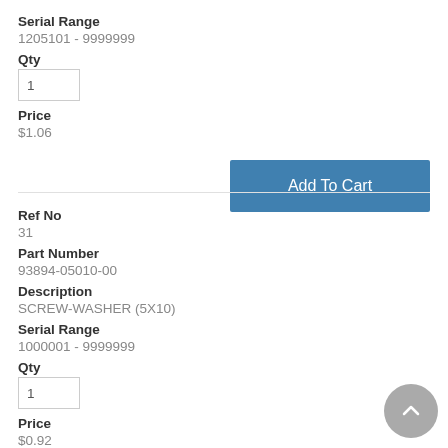Serial Range
1205101 - 9999999
Qty
1
Price
$1.06
Ref No
31
Part Number
93894-05010-00
Description
SCREW-WASHER (5X10)
Serial Range
1000001 - 9999999
Qty
1
Price
$0.92